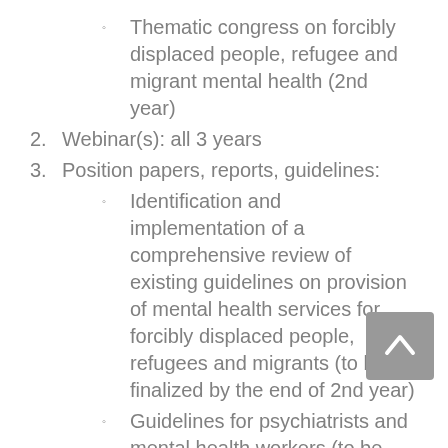Thematic congress on forcibly displaced people, refugee and migrant mental health (2nd year)
2. Webinar(s): all 3 years
3. Position papers, reports, guidelines:
Identification and implementation of a comprehensive review of existing guidelines on provision of mental health services for forcibly displaced people, refugees and migrants (to be finalized by the end of 2nd year)
Guidelines for psychiatrists and mental health workers (to be finalized by the end of 3rd year)
4. Digital/online, print version documents:
All material produced to be